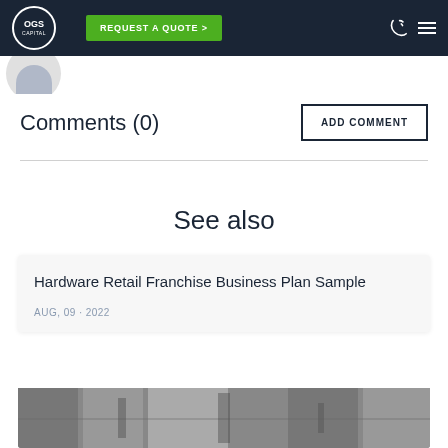OGS Capital | REQUEST A QUOTE >
[Figure (photo): Partial avatar/profile photo at top left]
Comments (0)
ADD COMMENT
See also
Hardware Retail Franchise Business Plan Sample
AUG, 09 · 2022
[Figure (photo): Partial image at bottom of card (hardware/tools)]